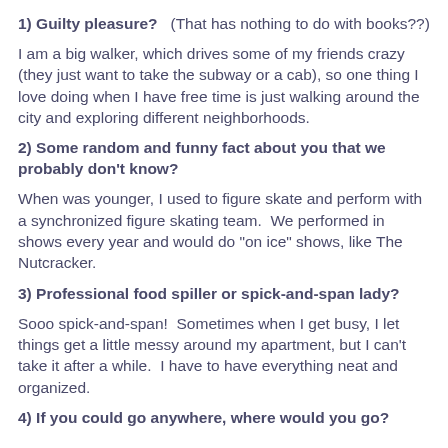1) Guilty pleasure?   (That has nothing to do with books??)
I am a big walker, which drives some of my friends crazy (they just want to take the subway or a cab), so one thing I love doing when I have free time is just walking around the city and exploring different neighborhoods.
2) Some random and funny fact about you that we probably don't know?
When was younger, I used to figure skate and perform with a synchronized figure skating team.  We performed in shows every year and would do "on ice" shows, like The Nutcracker.
3) Professional food spiller or spick-and-span lady?
Sooo spick-and-span!  Sometimes when I get busy, I let things get a little messy around my apartment, but I can't take it after a while.  I have to have everything neat and organized.
4) If you could go anywhere, where would you go?